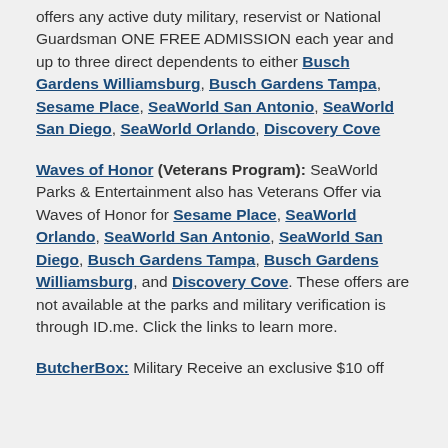offers any active duty military, reservist or National Guardsman ONE FREE ADMISSION each year and up to three direct dependents to either Busch Gardens Williamsburg, Busch Gardens Tampa, Sesame Place, SeaWorld San Antonio, SeaWorld San Diego, SeaWorld Orlando, Discovery Cove
Waves of Honor (Veterans Program): SeaWorld Parks & Entertainment also has Veterans Offer via Waves of Honor for Sesame Place, SeaWorld Orlando, SeaWorld San Antonio, SeaWorld San Diego, Busch Gardens Tampa, Busch Gardens Williamsburg, and Discovery Cove. These offers are not available at the parks and military verification is through ID.me. Click the links to learn more.
ButcherBox: Military Receive an exclusive $10 off their first order. Box of at least 5 lbs. or meat plus free chicken breasts for life.